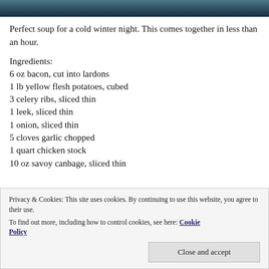[Figure (photo): Top portion of a bowl of soup, dark teal/blue tones, cropped]
Perfect soup for a cold winter night. This comes together in less than an hour.
Ingredients:
6 oz bacon, cut into lardons
1 lb yellow flesh potatoes, cubed
3 celery ribs, sliced thin
1 leek, sliced thin
1 onion, sliced thin
5 cloves garlic chopped
1 quart chicken stock
10 oz savoy canbage, sliced thin
Privacy & Cookies: This site uses cookies. By continuing to use this website, you agree to their use.
To find out more, including how to control cookies, see here: Cookie Policy